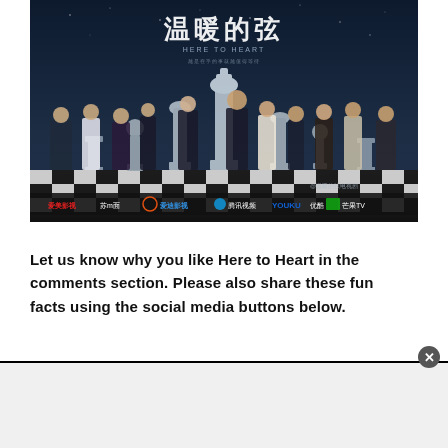[Figure (photo): Promotional poster for the Chinese TV drama 'Here to Heart' (温暖的弦). Shows multiple cast members standing on a giant chess board with large silver chess pieces. Chinese title characters at top, streaming platform logos at bottom (爱美影视, Sum面, 爱迪影视, 腾讯视频, YOUKU优酷, 芒果TV). Weibo watermark visible.]
Let us know why you like Here to Heart in the comments section. Please also share these fun facts using the social media buttons below.